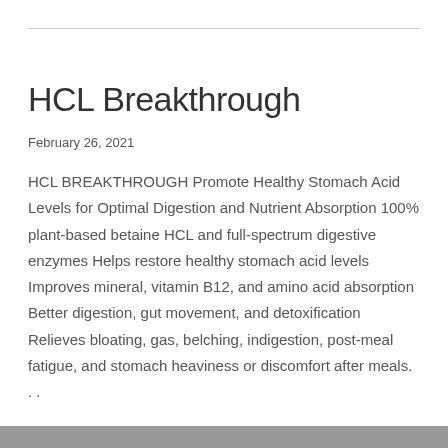HCL Breakthrough
February 26, 2021
HCL BREAKTHROUGH Promote Healthy Stomach Acid Levels for Optimal Digestion and Nutrient Absorption 100% plant-based betaine HCL and full-spectrum digestive enzymes Helps restore healthy stomach acid levels Improves mineral, vitamin B12, and amino acid absorption Better digestion, gut movement, and detoxification Relieves bloating, gas, belching, indigestion, post-meal fatigue, and stomach heaviness or discomfort after meals. . .
Read More